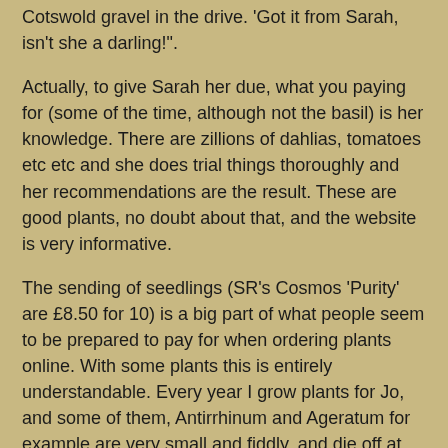Cotswold gravel in the drive. 'Got it from Sarah, isn't she a darling!'.
Actually, to give Sarah her due, what you paying for (some of the time, although not the basil) is her knowledge. There are zillions of dahlias, tomatoes etc etc and she does trial things thoroughly and her recommendations are the result. These are good plants, no doubt about that, and the website is very informative.
The sending of seedlings (SR's Cosmos 'Purity' are £8.50 for 10) is a big part of what people seem to be prepared to pay for when ordering plants online. With some plants this is entirely understandable. Every year I grow plants for Jo, and some of them, Antirrhinum and Ageratum for example are very small and fiddly, and die off at the drop of a hat – quite honestly only the experienced gardener would bother with them, but Cosmos! Big chunky things that come up in days, and can be pricked out practically blindfolded. I find it sad that so many people are passing up on the incredible satisfaction of growing easy annuals from seed.
To give a more table-based setting on your garden...